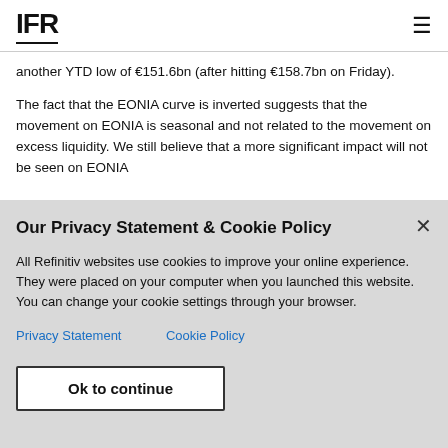IFR
another YTD low of €151.6bn (after hitting €158.7bn on Friday).
The fact that the EONIA curve is inverted suggests that the movement on EONIA is seasonal and not related to the movement on excess liquidity. We still believe that a more significant impact will not be seen on EONIA
Our Privacy Statement & Cookie Policy
All Refinitiv websites use cookies to improve your online experience. They were placed on your computer when you launched this website. You can change your cookie settings through your browser.
Privacy Statement    Cookie Policy
Ok to continue